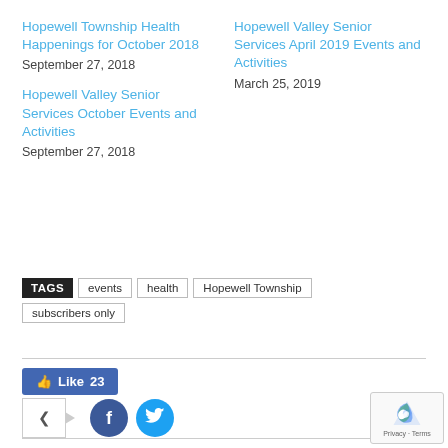Hopewell Township Health Happenings for October 2018 — September 27, 2018
Hopewell Valley Senior Services April 2019 Events and Activities — March 25, 2019
Hopewell Valley Senior Services October Events and Activities — September 27, 2018
TAGS: events, health, Hopewell Township, subscribers only
[Figure (other): Facebook Like button showing 'Like 23']
[Figure (other): Social share buttons: share box with arrow, Facebook circle button, Twitter circle button]
[Figure (other): reCAPTCHA widget — Privacy Terms]